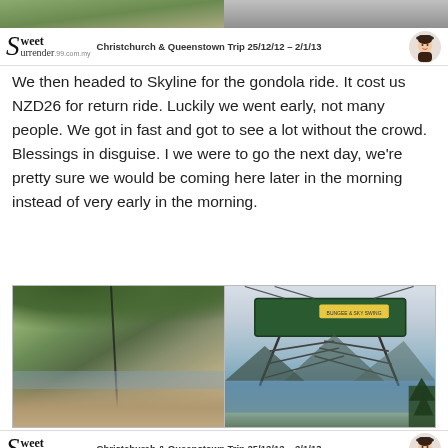[Figure (photo): Top partial strip of two photos: left shows green landscape/nature, right shows grey/overcast scene]
Sweet Surrender 99.com.my   Christchurch & Queenstown Trip 25/12/12 – 2/1/13
We then headed to Skyline for the gondola ride. It cost us NZD26 for return ride. Luckily we went early, not many people. We got in fast and got to see a lot without the crowd. Blessings in disguise. I we were to go the next day, we're pretty sure we would be coming here later in the morning instead of very early in the morning.
[Figure (photo): Two side-by-side photos: left shows aerial view of Queenstown city and lake from gondola with cable visible; right shows gondola/luge structure with lake and mountains in background]
Sweet Surrender 99.com.my   Christchurch & Queenstown Trip 25/12/12 – 2/1/13
Up... Up... We went...